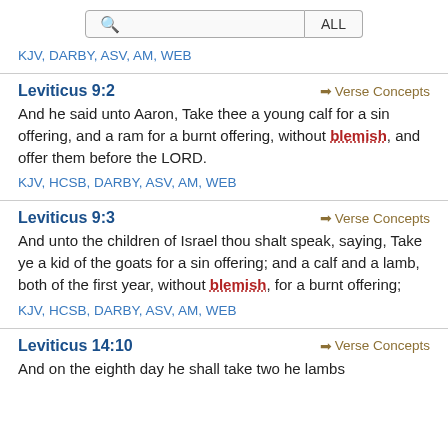Search bar with ALL filter
KJV, DARBY, ASV, AM, WEB
Leviticus 9:2
And he said unto Aaron, Take thee a young calf for a sin offering, and a ram for a burnt offering, without blemish, and offer them before the LORD.
KJV, HCSB, DARBY, ASV, AM, WEB
Leviticus 9:3
And unto the children of Israel thou shalt speak, saying, Take ye a kid of the goats for a sin offering; and a calf and a lamb, both of the first year, without blemish, for a burnt offering;
KJV, HCSB, DARBY, ASV, AM, WEB
Leviticus 14:10
And on the eighth day he shall take two he lambs